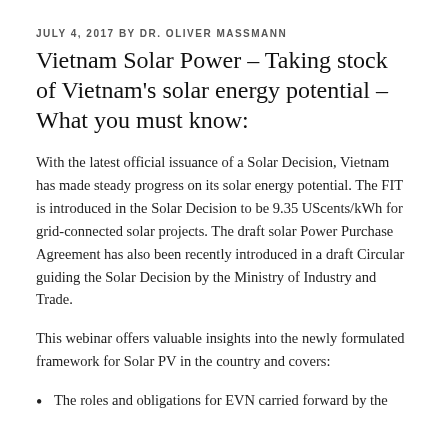JULY 4, 2017 BY DR. OLIVER MASSMANN
Vietnam Solar Power – Taking stock of Vietnam's solar energy potential – What you must know:
With the latest official issuance of a Solar Decision, Vietnam has made steady progress on its solar energy potential. The FIT is introduced in the Solar Decision to be 9.35 UScents/kWh for grid-connected solar projects. The draft solar Power Purchase Agreement has also been recently introduced in a draft Circular guiding the Solar Decision by the Ministry of Industry and Trade.
This webinar offers valuable insights into the newly formulated framework for Solar PV in the country and covers:
The roles and obligations for EVN carried forward by the